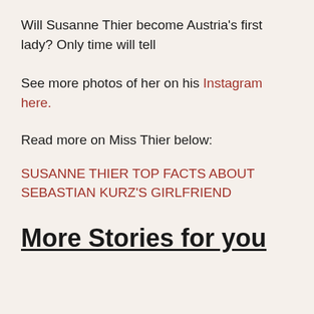Will Susanne Thier become Austria's first lady? Only time will tell
See more photos of her on his Instagram here.
Read more on Miss Thier below:
SUSANNE THIER TOP FACTS ABOUT SEBASTIAN KURZ'S GIRLFRIEND
More Stories for you